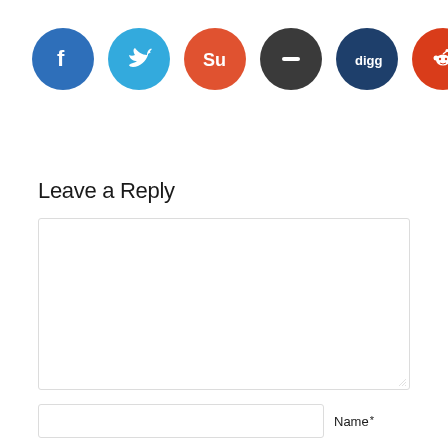[Figure (illustration): Row of six social media icon circles: Facebook (blue), Twitter (light blue), StumbleUpon (orange-red), a dark grey circle with minus/dash icon, Digg (dark blue), Reddit (red)]
Leave a Reply
[Figure (screenshot): Empty comment textarea input box with resize handle]
[Figure (screenshot): Name input field with label 'Name' and asterisk indicating required field]